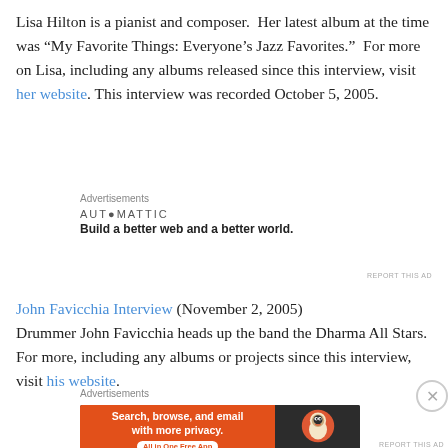Lisa Hilton is a pianist and composer.  Her latest album at the time was “My Favorite Things: Everyone’s Jazz Favorites.”  For more on Lisa, including any albums released since this interview, visit her website. This interview was recorded October 5, 2005.
Advertisements
[Figure (other): Automattic advertisement: AUTOMATTIC logo with tagline 'Build a better web and a better world.']
REPORT THIS AD
John Favicchia Interview (November 2, 2005)
Drummer John Favicchia heads up the band the Dharma All Stars.  For more, including any albums or projects since this interview, visit his website.
Advertisements
[Figure (other): DuckDuckGo advertisement: 'Search, browse, and email with more privacy. All in One Free App' with DuckDuckGo logo on dark background.]
REPORT THIS AD